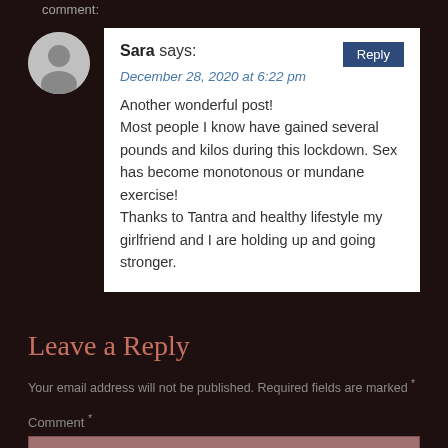comment:
Sara says:
December 28, 2020 at 6:22 pm
Another wonderful post!
Most people I know have gained several pounds and kilos during this lockdown. Sex has become monotonous or mundane exercise!
Thanks to Tantra and healthy lifestyle my girlfriend and I are holding up and going stronger.
Leave a Reply
Your email address will not be published. Required fields are marked *
Comment *